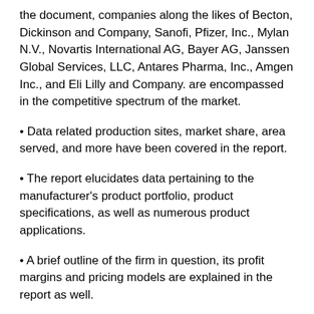the document, companies along the likes of Becton, Dickinson and Company, Sanofi, Pfizer, Inc., Mylan N.V., Novartis International AG, Bayer AG, Janssen Global Services, LLC, Antares Pharma, Inc., Amgen Inc., and Eli Lilly and Company. are encompassed in the competitive spectrum of the market.
• Data related production sites, market share, area served, and more have been covered in the report.
• The report elucidates data pertaining to the manufacturer's product portfolio, product specifications, as well as numerous product applications.
• A brief outline of the firm in question, its profit margins and pricing models are explained in the report as well.
Important takeaways from the report that may prove invaluable to potential shareholders of